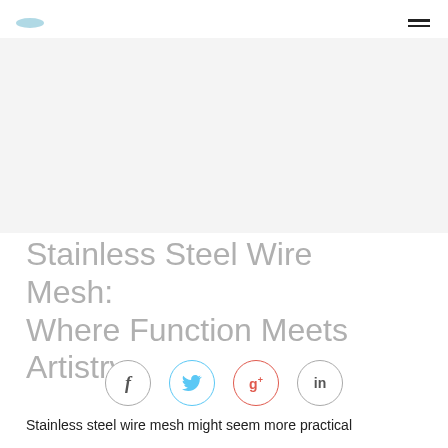[logo] [hamburger menu]
[Figure (photo): Light grey hero image area, blank/placeholder]
Stainless Steel Wire Mesh: Where Function Meets Artistry
[Figure (infographic): Social share icons: Facebook (f), Twitter (bird), Google+ (g+), LinkedIn (in)]
Stainless steel wire mesh might seem more practical